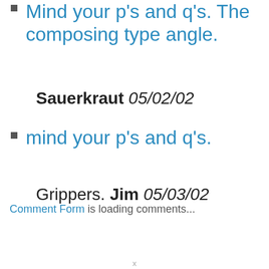Mind your p's and q's. The composing type angle.
Sauerkraut 05/02/02
mind your p's and q's.
Grippers. Jim 05/03/02
Comment Form is loading comments...